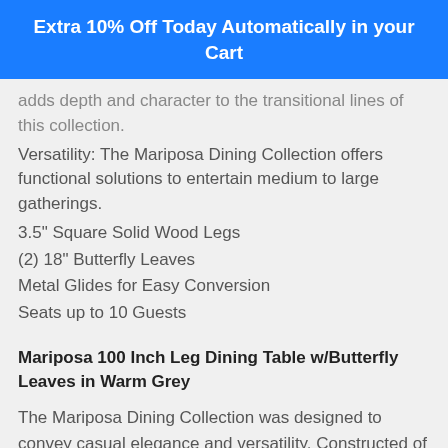Extra 10% Off Today Automatically in your Cart
adds depth and character to the transitional lines of this collection.
Versatility: The Mariposa Dining Collection offers functional solutions to entertain medium to large gatherings.
3.5" Square Solid Wood Legs
(2) 18" Butterfly Leaves
Metal Glides for Easy Conversion
Seats up to 10 Guests
Mariposa 100 Inch Leg Dining Table w/Butterfly Leaves in Warm Grey
The Mariposa Dining Collection was designed to convey casual elegance and versatility. Constructed of Solid Rubberwood and finished in a 6-step Warm Grey finish, this collection exudes a clean, transitional motif. Butterfly Leaves ease the transition from small-space dining to